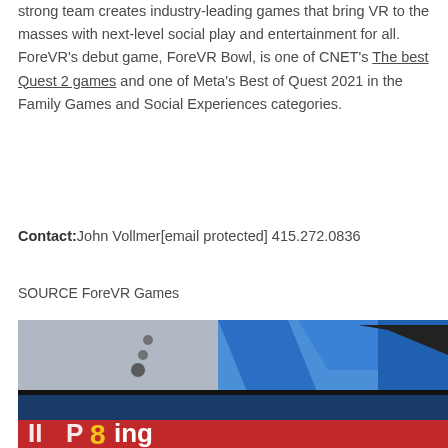strong team creates industry-leading games that bring VR to the masses with next-level social play and entertainment for all. ForeVR's debut game, ForeVR Bowl, is one of CNET's The best Quest 2 games and one of Meta's Best of Quest 2021 in the Family Games and Social Experiences categories.
Contact: John Vollmer[email protected] 415.272.0836
SOURCE ForeVR Games
[Figure (photo): A close-up photograph of what appears to be a VR bowling game scene, showing a bowling lane or bowling pin setup with blue and grey elements in the upper half, and a red banner at the bottom showing partial text including 'Bowling' or similar, with colorful letters.]